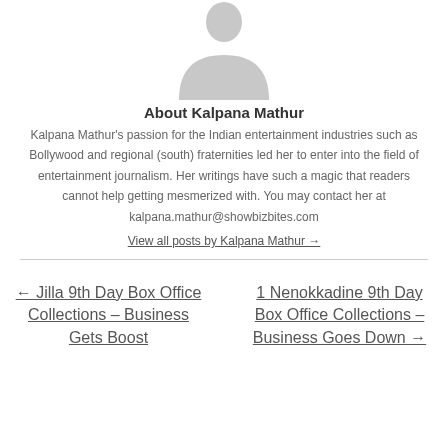[Figure (illustration): Generic grey avatar/silhouette placeholder image of a person]
About Kalpana Mathur
Kalpana Mathur's passion for the Indian entertainment industries such as Bollywood and regional (south) fraternities led her to enter into the field of entertainment journalism. Her writings have such a magic that readers cannot help getting mesmerized with. You may contact her at kalpana.mathur@showbizbites.com
View all posts by Kalpana Mathur →
← Jilla 9th Day Box Office Collections – Business Gets Boost
1 Nenokkadine 9th Day Box Office Collections – Business Goes Down →